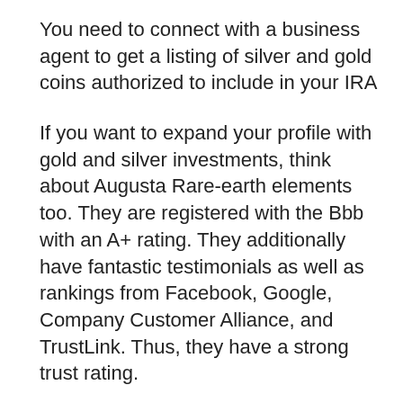You need to connect with a business agent to get a listing of silver and gold coins authorized to include in your IRA
If you want to expand your profile with gold and silver investments, think about Augusta Rare-earth elements too. They are registered with the Bbb with an A+ rating. They additionally have fantastic testimonials as well as rankings from Facebook, Google, Company Customer Alliance, and TrustLink. Thus, they have a strong trust rating.
Augusta Priceless Metals aims to give each customer with the best client assistance as well as experience. They dedicate themselves to make the financial investment